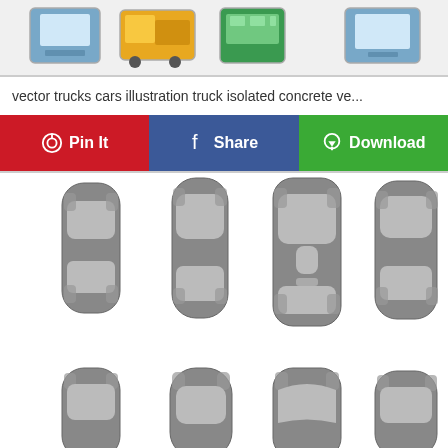[Figure (illustration): Row of colorful vehicle icons: blue monitor/truck, yellow/orange dump truck, green bus, blue monitor/truck - top-down or front view illustrations]
vector trucks cars illustration truck isolated concrete ve...
[Figure (infographic): Three social sharing buttons: Pinterest Pin It (red), Facebook Share (blue), Download (green)]
[Figure (illustration): Top-down silhouette views of various cars in grey color - 4 cars in top row (sedan, hatchback, SUV, compact) and 4 partially visible cars in bottom row]